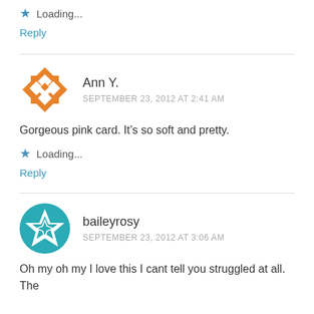★ Loading...
Reply
Ann Y. — SEPTEMBER 23, 2012 AT 2:41 AM
Gorgeous pink card. It's so soft and pretty.
★ Loading...
Reply
baileyrosy — SEPTEMBER 23, 2012 AT 3:06 AM
Oh my oh my I love this I cant tell you struggled at all. The